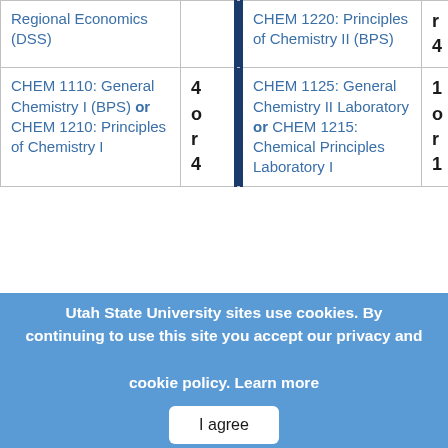| Course | Credits |  | Course | Credits |
| --- | --- | --- | --- | --- |
| Regional Economics (DSS) |  |  | CHEM 1220: Principles of Chemistry II (BPS) | r
4 |
| CHEM 1110: General Chemistry I (BPS) or CHEM 1210: Principles of Chemistry I | 4
or
4 |  | CHEM 1125: General Chemistry II Laboratory or CHEM 1215: Chemical Principles Laboratory I | 1
or
1 |
Utah State University sites use cookies. By continuing to use this site you accept our privacy and cookie policy. Learn more